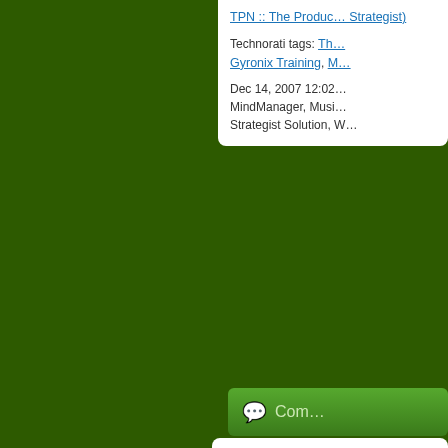TPN :: The Product Strategist)
Technorati tags: Th... Gyronix Training, M...
Dec 14, 2007 12:02... MindManager, Music... Strategist Solution, W...
Com...
Bootstrapp... Tools, Res...
It's an unsubstantia... McFarlin as a hot n... execution is the su... God bless Bootstrap... knowing about my... 100 tools. And foll...